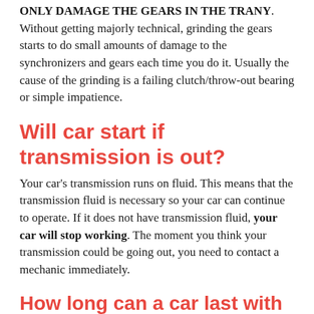ONLY DAMAGE THE GEARS IN THE TRANY. Without getting majorly technical, grinding the gears starts to do small amounts of damage to the synchronizers and gears each time you do it. Usually the cause of the grinding is a failing clutch/throw-out bearing or simple impatience.
Will car start if transmission is out?
Your car's transmission runs on fluid. This means that the transmission fluid is necessary so your car can continue to operate. If it does not have transmission fluid, your car will stop working. The moment you think your transmission could be going out, you need to contact a mechanic immediately.
How long can a car last with a bad transmission?